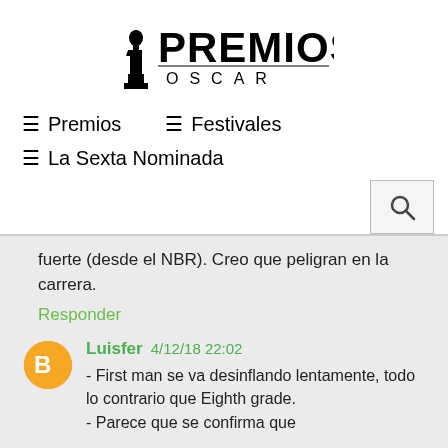[Figure (logo): Premios Oscar logo with Oscar statuette figure on left and text PREMIOS in large bold letters above OSCAR in spaced capitals]
≡ Premios   ≡ Festivales
≡ La Sexta Nominada
fuerte (desde el NBR). Creo que peligran en la carrera.
Responder
Luisfer 4/12/18 22:02
- First man se va desinflando lentamente, todo lo contrario que Eighth grade.
- Parece que se confirma que